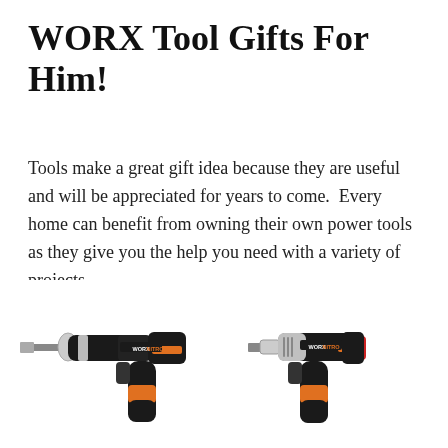WORX Tool Gifts For Him!
Tools make a great gift idea because they are useful and will be appreciated for years to come.  Every home can benefit from owning their own power tools as they give you the help you need with a variety of projects.
[Figure (photo): Two WORX NITRO power tools side by side: a black and orange cordless drill/driver on the left and a black, silver, and orange cordless impact driver on the right, both branded with WORXNITRO logo.]